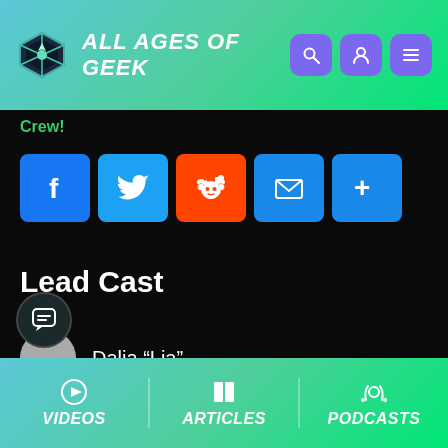ALL AGES OF GEEK
Crew!
[Figure (infographic): Social share buttons: Facebook, Twitter, Reddit, Email, More (+)]
Lead Cast
Dalia “Lia” Abdelwahab
More Episodes Like This
VIDEOS   ARTICLES   PODCASTS